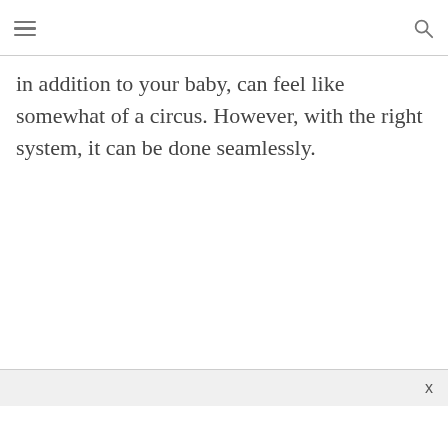in addition to your baby, can feel like somewhat of a circus. However, with the right system, it can be done seamlessly.